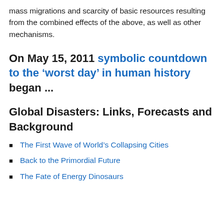mass migrations and scarcity of basic resources resulting from the combined effects of the above, as well as other mechanisms.
On May 15, 2011 symbolic countdown to the ‘worst day’ in human history began …
Global Disasters: Links, Forecasts and Background
The First Wave of World’s Collapsing Cities
Back to the Primordial Future
The Fate of Energy Dinosaurs